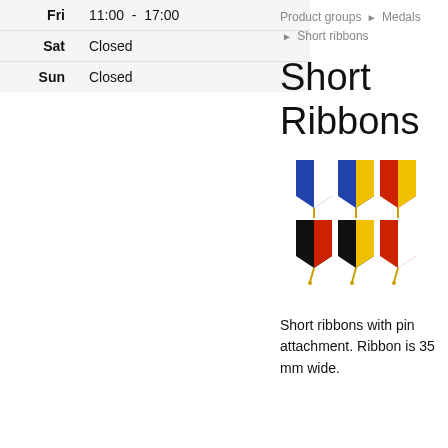| Day | Hours |
| --- | --- |
| Fri | 11:00 - 17:00 |
| Sat | Closed |
| Sun | Closed |
Product groups ▶ Medals ▶ Short ribbons
Short Ribbons
[Figure (photo): Six colorful short medal ribbons with pin attachments arranged in two rows. Top row: blue/white, blue/yellow, red/yellow ribbons. Bottom row: black/red, black/yellow, red/white ribbons with gold pin clasps.]
Short ribbons with pin attachment. Ribbon is 35 mm wide.